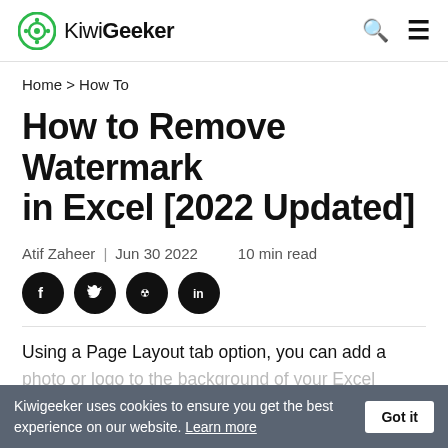KiwiGeeker
Home > How To
How to Remove Watermark in Excel [2022 Updated]
Atif Zaheer | Jun 30, 2022   10 min read
[Figure (other): Social sharing icons: Facebook, Twitter, Reddit, LinkedIn]
Using a Page Layout tab option, you can add a photo or logo to the background of your Excel wo...
Kiwigeeker uses cookies to ensure you get the best experience on our website. Learn more  Got it